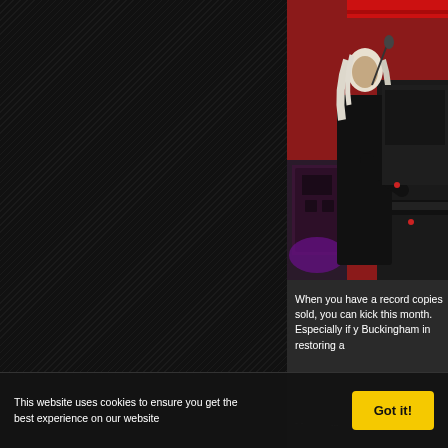[Figure (photo): Left panel with dark diagonal-striped background pattern, dark themed web page overlay]
[Figure (photo): Concert photo on right side: performer with white/blonde hair wearing black clothing, playing keyboard/piano on stage with red background, microphone visible, purple stage lighting]
When you have a record copies sold, you can kick this month. Especially if y Buckingham in restoring a
This website uses cookies to ensure you get the best experience on our website
Got it!